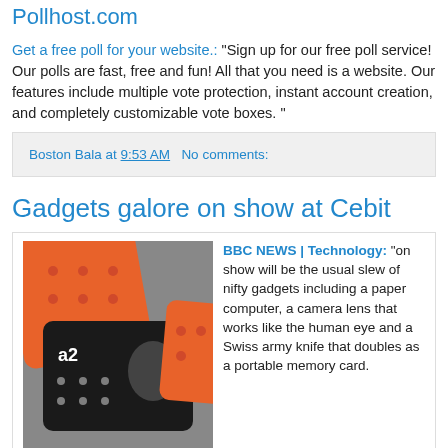Pollhost.com
Get a free poll for your website.: "Sign up for our free poll service! Our polls are fast, free and fun! All that you need is a website. Our features include multiple vote protection, instant account creation, and completely customizable vote boxes. "
Boston Bala at 9:53 AM   No comments:
Gadgets galore on show at Cebit
[Figure (photo): Photo of electronic gadgets/cards including an orange numpad and a black card labeled 'a2' with a face image]
BBC NEWS | Technology: "on show will be the usual slew of nifty gadgets including a paper computer, a camera lens that works like the human eye and a Swiss army knife that doubles as a portable memory card.
On show will be a range of high-speed services that will send